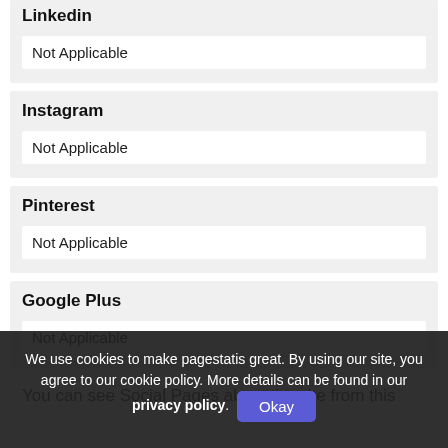Linkedin
Not Applicable
Instagram
Not Applicable
Pinterest
Not Applicable
Google Plus
Not Applicable
You can see Social Pages about the site from this
We use cookies to make pagestatis great. By using our site, you agree to our cookie policy. More details can be found in our privacy policy. Okay